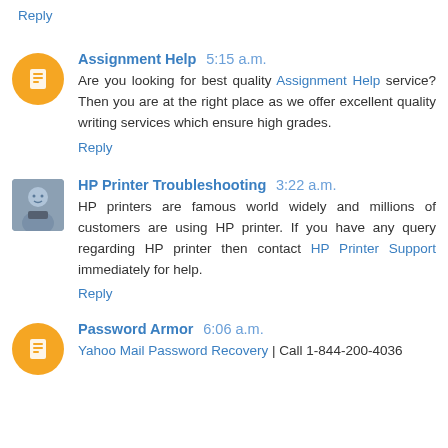Reply
Assignment Help 5:15 a.m.
Are you looking for best quality Assignment Help service? Then you are at the right place as we offer excellent quality writing services which ensure high grades.
Reply
HP Printer Troubleshooting 3:22 a.m.
HP printers are famous world widely and millions of customers are using HP printer. If you have any query regarding HP printer then contact HP Printer Support immediately for help.
Reply
Password Armor 6:06 a.m.
Yahoo Mail Password Recovery | Call 1-844-200-4036